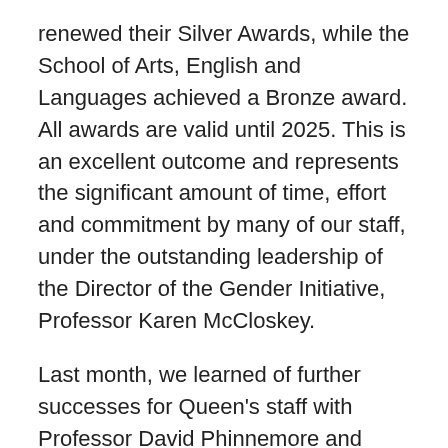renewed their Silver Awards, while the School of Arts, English and Languages achieved a Bronze award. All awards are valid until 2025. This is an excellent outcome and represents the significant amount of time, effort and commitment by many of our staff, under the outstanding leadership of the Director of the Gender Initiative, Professor Karen McCloskey.
Last month, we learned of further successes for Queen's staff with Professor David Phinnemore and Professor Katy Hayward elected to membership of the Academy of Social Sciences and the award of a BEM in the Queen's Birthday Honours to Christine Carrothers, a member of the clerical team in the McClay Library and who many of you will know as the driving force behind the highly successful annual Charity Coffee morning organised by Information